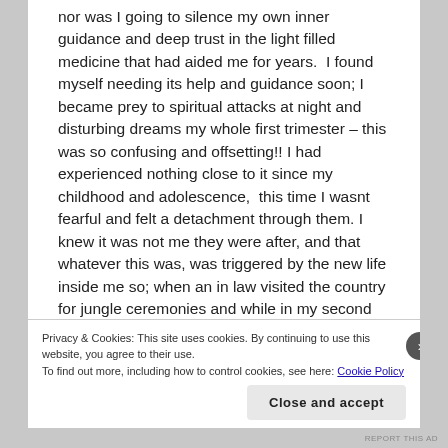nor was I going to silence my own inner guidance and deep trust in the light filled medicine that had aided me for years.  I found myself needing its help and guidance soon; I became prey to spiritual attacks at night and disturbing dreams my whole first trimester – this was so confusing and offsetting!! I had experienced nothing close to it since my childhood and adolescence,  this time I wasnt fearful and felt a detachment through them. I knew it was not me they were after, and that whatever this was, was triggered by the new life inside me so; when an in law visited the country for jungle ceremonies and while in my second trimester
Privacy & Cookies: This site uses cookies. By continuing to use this website, you agree to their use.
To find out more, including how to control cookies, see here: Cookie Policy
Close and accept